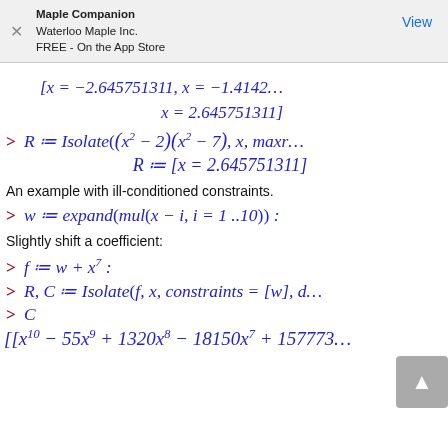Maple Companion
Waterloo Maple Inc.
FREE - On the App Store
View
An example with ill-conditioned constraints.
Slightly shift a coefficient: